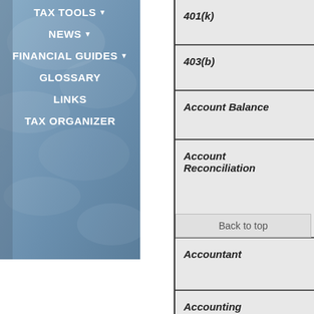TAX TOOLS ▾
NEWS ▾
FINANCIAL GUIDES ▾
GLOSSARY
LINKS
TAX ORGANIZER
401(k)
403(b)
Account Balance
Account Reconciliation
Back to top
Accountant
Accounting